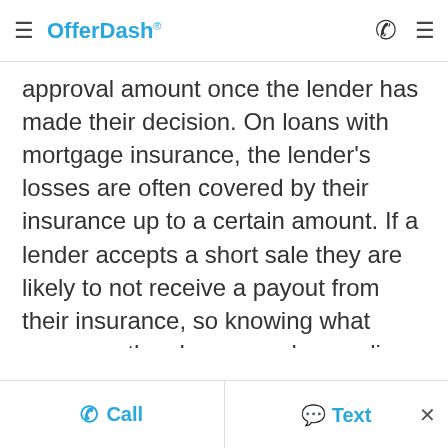OfferDash
approval amount once the lender has made their decision. On loans with mortgage insurance, the lender's losses are often covered by their insurance up to a certain amount. If a lender accepts a short sale they are likely to not receive a payout from their insurance, so knowing what coverage they have on a loan policy is key when requesting a short sale. If you're interested in purchasing a Big Piney Condo for sale that is listed as
Call  Text